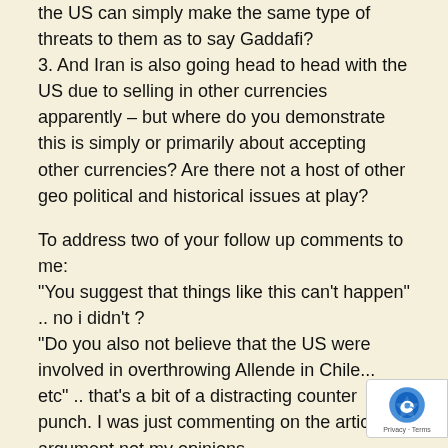the US can simply make the same type of threats to them as to say Gaddafi?
3. And Iran is also going head to head with the US due to selling in other currencies apparently – but where do you demonstrate this is simply or primarily about accepting other currencies? Are there not a host of other geo political and historical issues at play?
To address two of your follow up comments to me: "You suggest that things like this can't happen" .. no i didn't ? "Do you also not believe that the US were involved in overthrowing Allende in Chile... etc" .. that's a bit of a distracting counter punch. I was just commenting on the articles argument not my opinions.
Don't get me wrong – I agree with much of what you say around the issue. As well as the thoughts of some of those Authors you pitched in – the ones I've